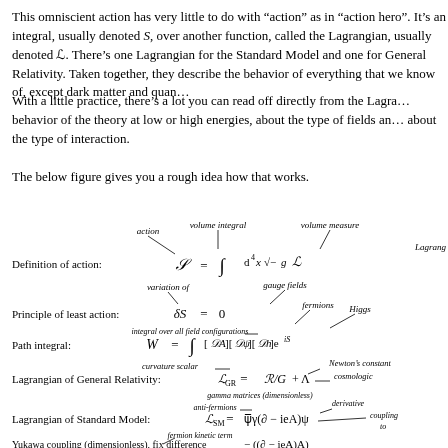This omniscient action has very little to do with “action” as in “action hero”. It’s an integral, usually denoted S, over another function, called the Lagrangian, usually denoted ℒ. There’s one Lagrangian for the Standard Model and one for General Relativity. Taken together, they describe the behavior of everything that we know of, except dark matter and quantum gravity.
With a little practice, there’s a lot you can read off directly from the Lagrangian: about the behavior of the theory at low or high energies, about the type of fields and their spin, and about the type of interaction.
The below figure gives you a rough idea how that works.
[Figure (schematic): Annotated diagram showing the definition of action, principle of least action, path integral, Lagrangian of General Relativity, and Lagrangian of Standard Model, with labeled arrows pointing to each component of the equations.]